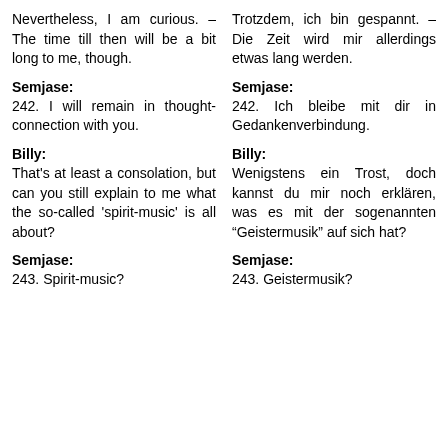Nevertheless, I am curious. – The time till then will be a bit long to me, though.
Trotzdem, ich bin gespannt. – Die Zeit wird mir allerdings etwas lang werden.
Semjase:
Semjase:
242. I will remain in thought-connection with you.
242. Ich bleibe mit dir in Gedankenverbindung.
Billy:
Billy:
That's at least a consolation, but can you still explain to me what the so-called 'spirit-music' is all about?
Wenigstens ein Trost, doch kannst du mir noch erklären, was es mit der sogenannten "Geistermusik" auf sich hat?
Semjase:
Semjase:
243. Spirit-music?
243. Geistermusik?